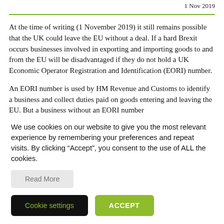1 Nov 2019
At the time of writing (1 November 2019) it still remains possible that the UK could leave the EU without a deal. If a hard Brexit occurs businesses involved in exporting and importing goods to and from the EU will be disadvantaged if they do not hold a UK Economic Operator Registration and Identification (EORI) number.
An EORI number is used by HM Revenue and Customs to identify a business and collect duties paid on goods entering and leaving the EU. But a business without an EORI number
We use cookies on our website to give you the most relevant experience by remembering your preferences and repeat visits. By clicking “Accept”, you consent to the use of ALL the cookies.